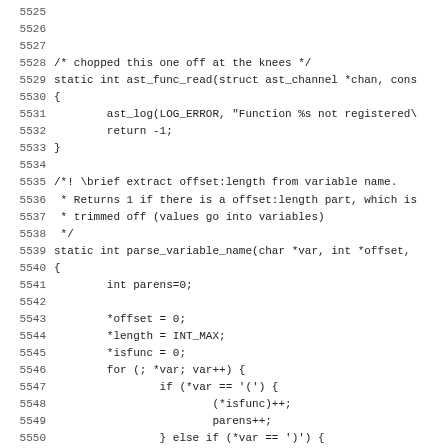[Figure (other): Source code listing showing C code for ast_func_read and parse_variable_name functions, with line numbers 5525-5557]